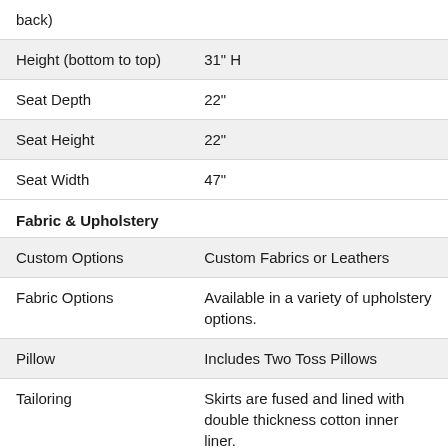| back) |  |
| Height (bottom to top) | 31" H |
| Seat Depth | 22" |
| Seat Height | 22" |
| Seat Width | 47" |
Fabric & Upholstery
| Custom Options | Custom Fabrics or Leathers |
| Fabric Options | Available in a variety of upholstery options. |
| Pillow | Includes Two Toss Pillows |
| Tailoring | Skirts are fused and lined with double thickness cotton inner liner. |
Style Elements
| Style | Transitional |
| Arm Type | Rolled Arm |